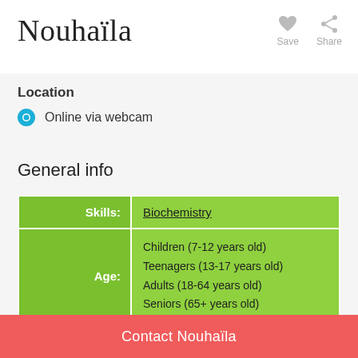Nouhaïla
Location
Online via webcam
General info
|  |  |
| --- | --- |
| Skills: | Biochemistry |
| Age: | Children (7-12 years old)
Teenagers (13-17 years old)
Adults (18-64 years old)
Seniors (65+ years old) |
| Student | Beginner
Intermediate |
Contact Nouhaïla